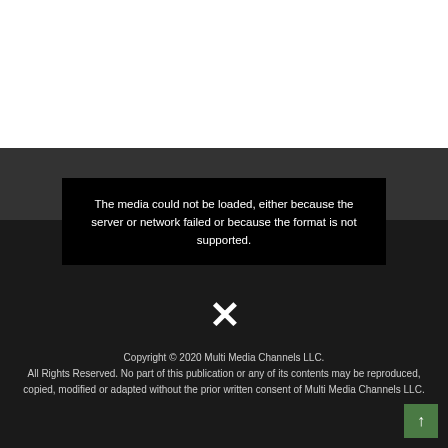[Figure (other): White top area representing blank/empty content area above a dark background media player region]
The media could not be loaded, either because the server or network failed or because the format is not supported.
X
Copyright © 2020 Multi Media Channels LLC. All Rights Reserved. No part of this publication or any of its contents may be reproduced, copied, modified or adapted without the prior written consent of Multi Media Channels LLC.